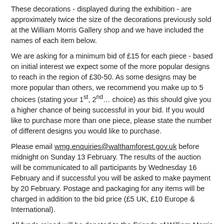These decorations - displayed during the exhibition - are approximately twice the size of the decorations previously sold at the William Morris Gallery shop and we have included the names of each item below.
We are asking for a minimum bid of £15 for each piece - based on initial interest we expect some of the more popular designs to reach in the region of £30-50. As some designs may be more popular than others, we recommend you make up to 5 choices (stating your 1st, 2nd… choice) as this should give you a higher chance of being successful in your bid. If you would like to purchase more than one piece, please state the number of different designs you would like to purchase.
Please email wmg.enquiries@walthamforest.gov.uk before midnight on Sunday 13 February. The results of the auction will be communicated to all participants by Wednesday 16 February and if successful you will be asked to make payment by 20 February. Postage and packaging for any items will be charged in addition to the bid price (£5 UK, £10 Europe & International).
All funds raised will be donated to the Friends of William Morris Gallery, who support the Gallery's collections, exhibitions and education programme.
List of decorations for auction (information about dimensions accompanies each image):